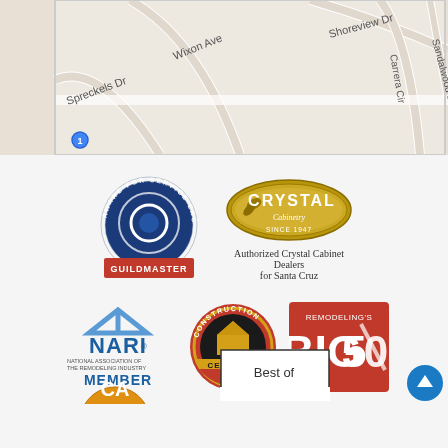[Figure (map): Street map showing Spreckels Dr, Wixon Ave, Shoreview Dr, Carrera Cir, Sandalwood Dr area]
[Figure (logo): Guildmaster Award for Service Excellence circular badge with blue Q logo and red banner]
[Figure (logo): Crystal Cabinetry gold oval logo with leaf decoration, SINCE 1947]
Authorized Crystal Cabinet Dealers for Santa Cruz
[Figure (logo): NARI National Association of The Remodeling Industry MEMBER logo with house roof icon in blue]
[Figure (logo): Construction Guild Certified circular badge in red, black and gold]
[Figure (logo): Remodeling's Big 50 award logo, red background with white text]
[Figure (logo): Partial CA logo (orange/gold half-circle) at bottom left]
[Figure (logo): Best of badge partially visible at bottom center]
[Figure (illustration): Blue circular back-to-top button with upward arrow at bottom right]